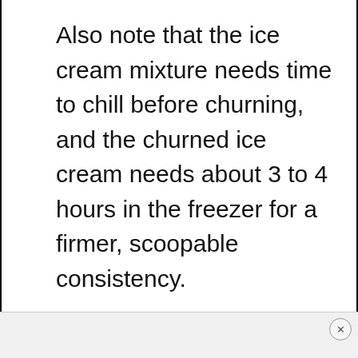Also note that the ice cream mixture needs time to chill before churning, and the churned ice cream needs about 3 to 4 hours in the freezer for a firmer, scoopable consistency.